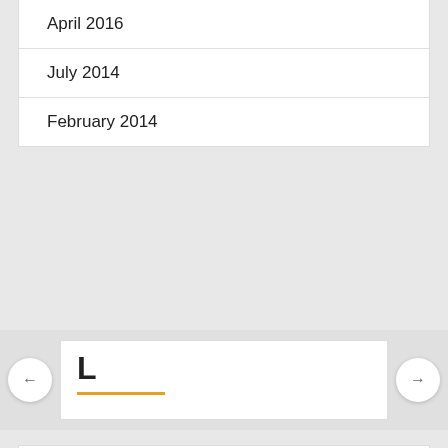April 2016
July 2014
February 2014
L
TL
[Figure (logo): Intellifluence circular badge logo in blue]